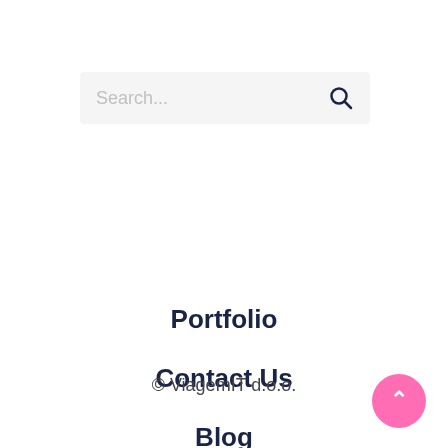[Figure (screenshot): Search bar with placeholder text 'Search...' and a search icon on a light gray background]
Portfolio
Contact Us
Blog
© ViagemIT d.o.o.